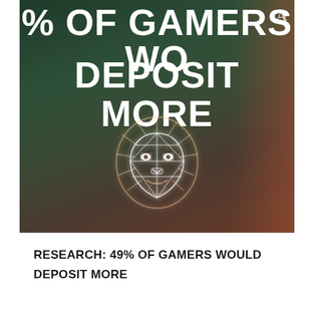[Figure (photo): Dark background photo with text overlay reading '% OF GAMERS WO[ULD] / DEPOSIT MORE' and a lion head logo/emblem in the center. There is a skin/hand visible on the right side.]
RESEARCH: 49% OF GAMERS WOULD DEPOSIT MORE